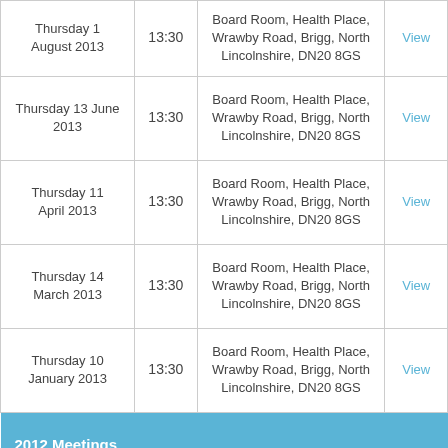| Date | Time | Venue |  |
| --- | --- | --- | --- |
| Thursday 1 August 2013 | 13:30 | Board Room, Health Place, Wrawby Road, Brigg, North Lincolnshire, DN20 8GS | View |
| Thursday 13 June 2013 | 13:30 | Board Room, Health Place, Wrawby Road, Brigg, North Lincolnshire, DN20 8GS | View |
| Thursday 11 April 2013 | 13:30 | Board Room, Health Place, Wrawby Road, Brigg, North Lincolnshire, DN20 8GS | View |
| Thursday 14 March 2013 | 13:30 | Board Room, Health Place, Wrawby Road, Brigg, North Lincolnshire, DN20 8GS | View |
| Thursday 10 January 2013 | 13:30 | Board Room, Health Place, Wrawby Road, Brigg, North Lincolnshire, DN20 8GS | View |
| 2012 Meetings |  |  |  |
| Thursday 8 | 13:30 | Board Room, Health Place, Wrawby Road, Brigg, North | View |